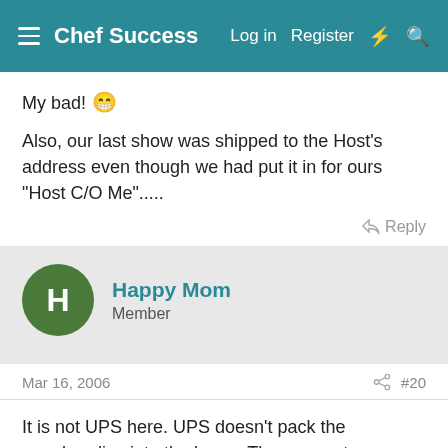Chef Success | Log in | Register
My bad! 😁
Also, our last show was shipped to the Host's address even though we had put it in for ours "Host C/O Me".....
Reply
Happy Mom
Member
Mar 16, 2006  #20
It is not UPS here. UPS doesn't pack the merchandise into the boxes.They are not responsible for missing products or parts. I think it is the warehouse...